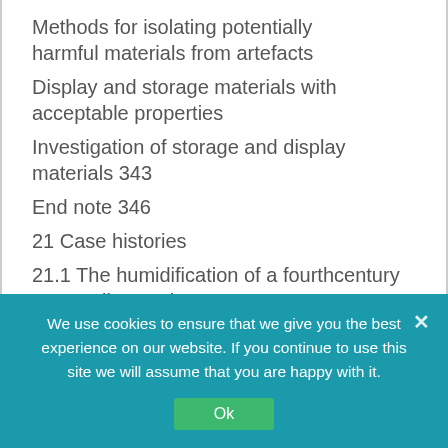Methods for isolating potentially harmful materials from artefacts
Display and storage materials with acceptable properties
Investigation of storage and display materials 343
End note 346
21 Case histories
21.1 The humidification of a fourthcentury AD woollen sock, excavated at Hawara, Egypt 350
21.2 The conservation of an
We use cookies to ensure that we give you the best experience on our website. If you continue to use this site we will assume that you are happy with it.